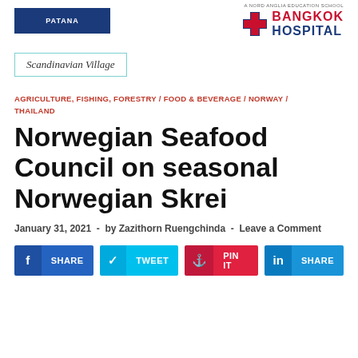[Figure (logo): Patana school logo (blue rectangle)]
[Figure (logo): Nord Anglia / Bangkok Hospital logo]
[Figure (logo): Scandinavian Village logo with teal border]
AGRICULTURE, FISHING, FORESTRY / FOOD & BEVERAGE / NORWAY / THAILAND
Norwegian Seafood Council on seasonal Norwegian Skrei
January 31, 2021  -  by Zazithorn Ruengchinda  -  Leave a Comment
[Figure (infographic): Social sharing buttons: SHARE (Facebook), TWEET, PIN IT, SHARE (LinkedIn)]